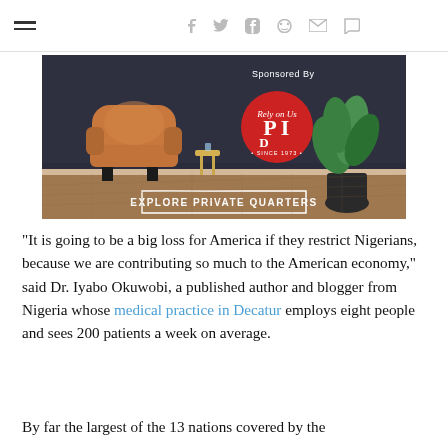☰  f  𝕥  p  reddit  ✉  💬
[Figure (photo): Advertisement banner for PDI featuring a leather chair, plant, and red PDI circle logo. Text reads 'Sponsored By', 'Rely on Us', 'PDI', 'SINCE 1973', 'EXPLORE PRIVATE QUARTERS']
"It is going to be a big loss for America if they restrict Nigerians, because we are contributing so much to the American economy," said Dr. Iyabo Okuwobi, a published author and blogger from Nigeria whose medical practice in Decatur employs eight people and sees 200 patients a week on average.
By far the largest of the 13 nations covered by the